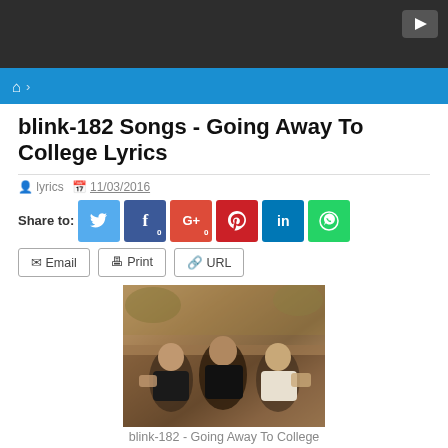blink-182 Songs - Going Away To College Lyrics
lyrics  11/03/2016
Share to: [Twitter] [Facebook 0] [G+ 0] [Pinterest] [LinkedIn] [WhatsApp]
Email  Print  URL
[Figure (photo): Photo of blink-182 band members in sepia tone]
blink-182 - Going Away To College
blink-182 – Going Away To College Lyrics Mod…